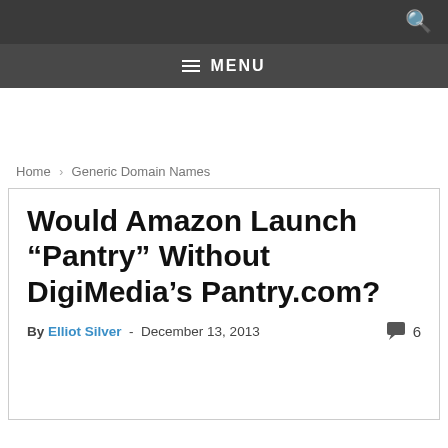MENU
Home › Generic Domain Names
Would Amazon Launch “Pantry” Without DigiMedia’s Pantry.com?
By Elliot Silver - December 13, 2013   6